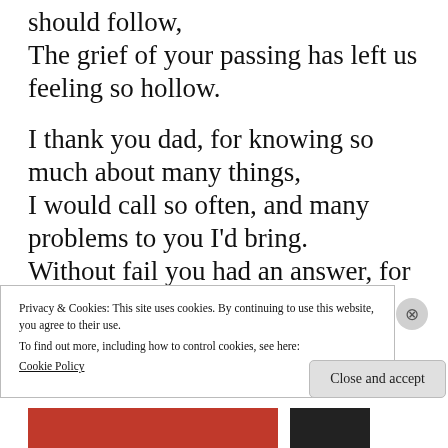should follow,
The grief of your passing has left us feeling so hollow.

I thank you dad, for knowing so much about many things,
I would call so often, and many problems to you I'd bring.
Without fail you had an answer, for you were always so wise,
And your deeds matched your words;
Privacy & Cookies: This site uses cookies. By continuing to use this website, you agree to their use.
To find out more, including how to control cookies, see here:
Cookie Policy
Close and accept